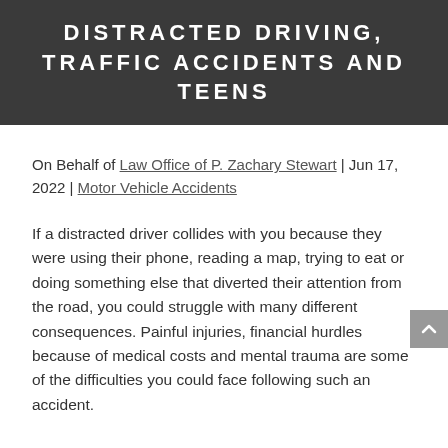DISTRACTED DRIVING, TRAFFIC ACCIDENTS AND TEENS
On Behalf of Law Office of P. Zachary Stewart | Jun 17, 2022 | Motor Vehicle Accidents
If a distracted driver collides with you because they were using their phone, reading a map, trying to eat or doing something else that diverted their attention from the road, you could struggle with many different consequences. Painful injuries, financial hurdles because of medical costs and mental trauma are some of the difficulties you could face following such an accident.